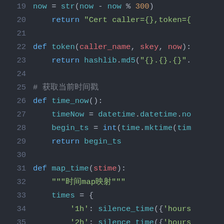[Figure (screenshot): Python source code editor screenshot showing lines 19-37 with syntax highlighting on dark background. Code includes function definitions for token(), time_now(), and map_time() with return statements and variable assignments.]